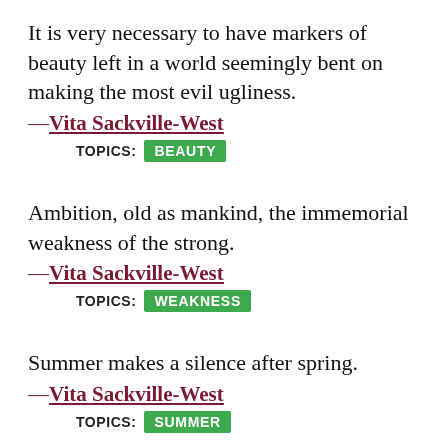It is very necessary to have markers of beauty left in a world seemingly bent on making the most evil ugliness.
—Vita Sackville-West
TOPICS: BEAUTY
Ambition, old as mankind, the immemorial weakness of the strong.
—Vita Sackville-West
TOPICS: WEAKNESS
Summer makes a silence after spring.
—Vita Sackville-West
TOPICS: SUMMER